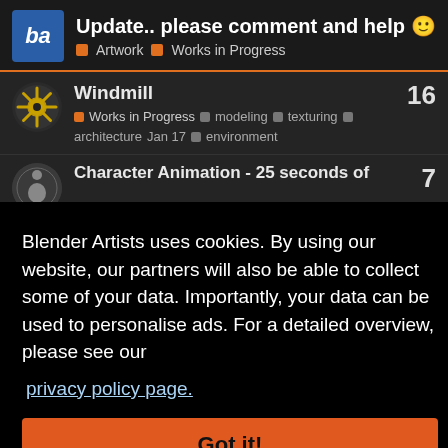Update.. please comment and help 🙂 | Artwork | Works in Progress
Windmill
Works in Progress | modeling | texturing | architecture | environment | Jan 17
16
Character Animation - 25 seconds of...
7
Jan 31
27
Apr 27
9
27d
Blender Artists uses cookies. By using our website, our partners will also be able to collect some of your data. Importantly, your data can be used to personalise ads. For a detailed overview, please see our privacy policy page.
Got it!